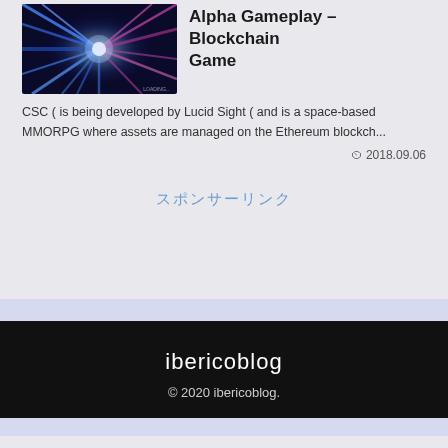[Figure (photo): Thumbnail image of colorful light beams (blue, pink, white) radiating outward from a central point on a dark background, resembling a space or sci-fi scene.]
Alpha Gameplay – Blockchain Game
CSC ( is being developed by Lucid Sight ( and is a space-based MMORPG where assets are managed on the Ethereum blockch...
2018.09.06
スポンサーリンク
ibericoblog
© 2020 ibericoblog.